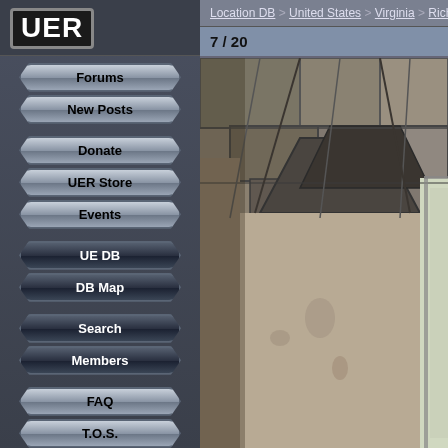[Figure (logo): UER logo - white block letters on dark background with grey border]
Forums
New Posts
Donate
UER Store
Events
UE DB
DB Map
Search
Members
FAQ
T.O.S.
Privacy
Register
Login
Location DB > United States > Virginia > Richmond > The
7 / 20
[Figure (photo): Interior of abandoned building showing dusty drop ceiling tiles with suspended grid, beige/tan colored walls, natural light from window on the right side]